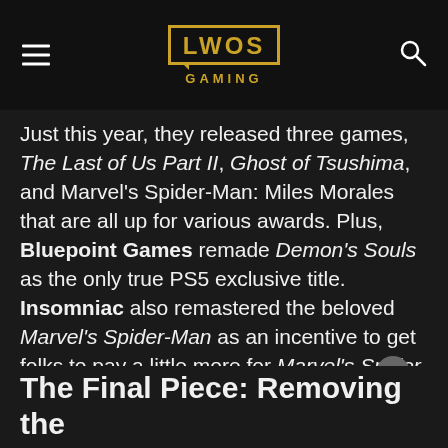LWOS GAMING
Just this year, they released three games, The Last of Us Part II, Ghost of Tsushima, and Marvel's Spider-Man: Miles Morales that are all up for various awards. Plus, Bluepoint Games remade Demon's Souls as the only true PS5 exclusive title. Insomniac also remastered the beloved Marvel's Spider-Man as an incentive to get folks to pay a little more for Marvel's Spider-Man: Miles Morales. Furthermore, Square-Enix helped give PlayStation another major win with the currently console exclusive Final Fantasy VII Remake as well.
The Final Piece: Removing the